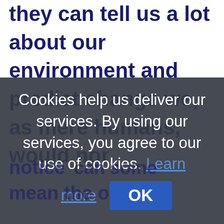they can tell us a lot about our environment and predict change we, as mere humans, would nor
Cookies help us deliver our services. By using our services, you agree to our use of cookies. Learn more OK
notice ... can some mean the o ... viro ...